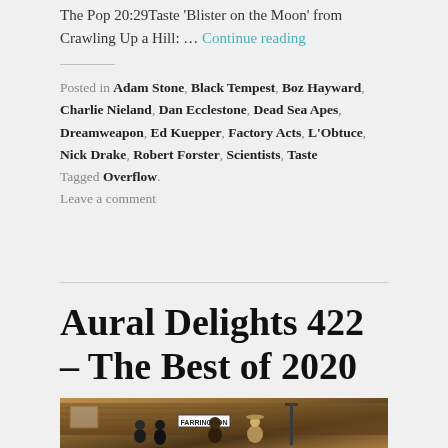The Pop 20:29Taste 'Blister on the Moon' from Crawling Up a Hill: … Continue reading
Posted in Adam Stone, Black Tempest, Boz Hayward, Charlie Nieland, Dan Ecclestone, Dead Sea Apes, Dreamweapon, Ed Kuepper, Factory Acts, L'Obtuce, Nick Drake, Robert Forster, Scientists, Taste
Tagged Overflow.
Leave a comment
Aural Delights 422 – The Best of 2020
[Figure (photo): Group of people standing in front of a brick building near a Farringdon street sign, warm amber/sepia tones]